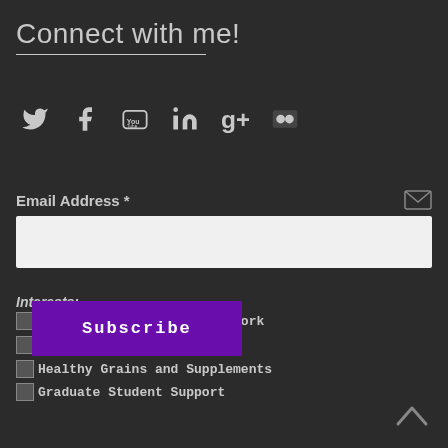Connect with me!
[Figure (infographic): Row of social media icons: Twitter, Facebook, YouTube, LinkedIn, Google+, Flickr]
Email Address *
Interests:
Leadership and Knowledge Work
Human-Horse Relationships
Healthy Grains and Supplements
Graduate Student Support
Subscribe